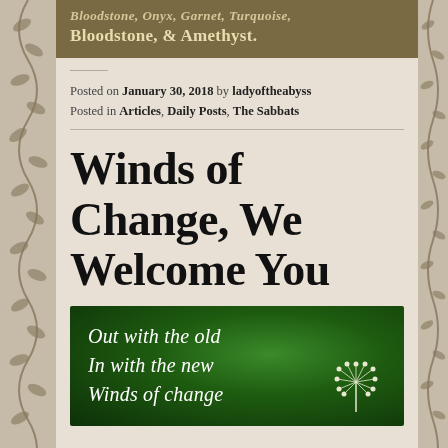Bloodstone, & Amethyst.
Posted on January 30, 2018 by ladyoftheabyss
Posted in Articles, Daily Posts, The Sabbats
Winds of Change, We Welcome You
[Figure (photo): Green background image with white italic text reading 'Out with the old / In with the new / Winds of change' with a dandelion illustration on the right side]